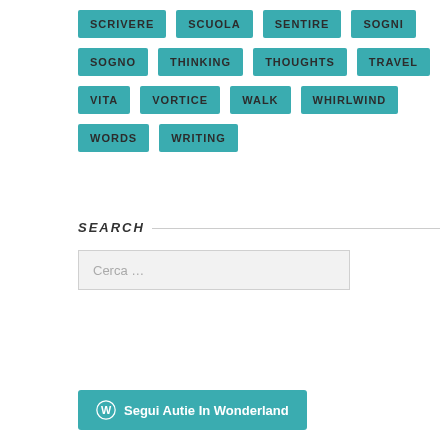SCRIVERE
SCUOLA
SENTIRE
SOGNI
SOGNO
THINKING
THOUGHTS
TRAVEL
VITA
VORTICE
WALK
WHIRLWIND
WORDS
WRITING
SEARCH
Cerca …
Segui Autie In Wonderland